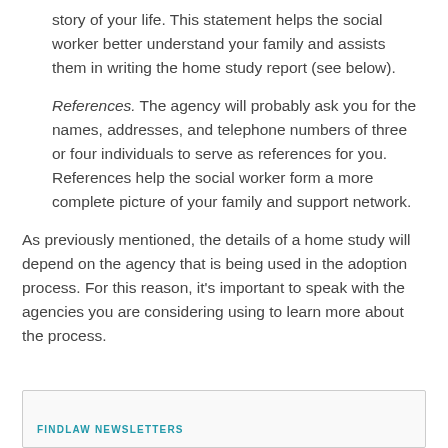story of your life. This statement helps the social worker better understand your family and assists them in writing the home study report (see below).
References. The agency will probably ask you for the names, addresses, and telephone numbers of three or four individuals to serve as references for you. References help the social worker form a more complete picture of your family and support network.
As previously mentioned, the details of a home study will depend on the agency that is being used in the adoption process. For this reason, it's important to speak with the agencies you are considering using to learn more about the process.
FINDLAW NEWSLETTERS